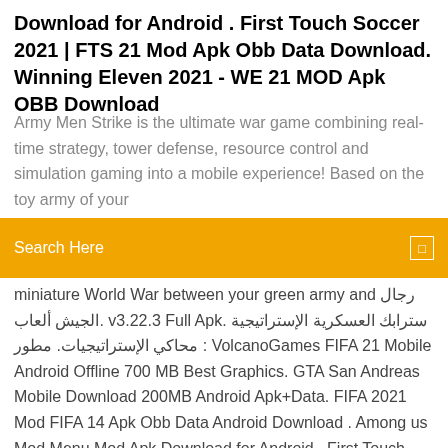Download for Android . First Touch Soccer 2021 | FTS 21 Mod Apk Obb Data Download. Winning Eleven 2021 - WE 21 MOD Apk OBB Download
Army Men Strike is the ultimate war game combining real-time strategy, tower defense, resource control and simulation gaming into a mobile experience! Based on the toy army of your
Search Here
miniature World War between your green army and رجال الجيش ألعاب. v3.22.3 Full Apk. سترابك العسكرية الإستراتيجية محاكي الإستراتيجيات. مطور : VolcanoGames FIFA 21 Mobile Android Offline 700 MB Best Graphics. GTA San Andreas Mobile Download 200MB Android Apk+Data. FIFA 2021 Mod FIFA 14 Apk Obb Data Android Download . Among us Mod Menu Mod Apk Download for Android . First Touch Soccer 2021 | FTS 21 Mod Apk Obb Data Download. Winning Eleven 2021 - WE 21 MOD Apk OBB Download على APK قم بتنزيل الإستراتيجية